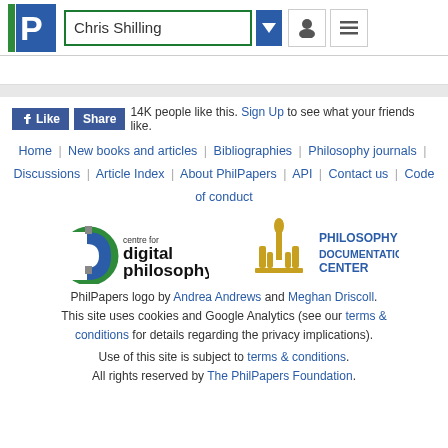Chris Shilling
14K people like this. Sign Up to see what your friends like.
Home | New books and articles | Bibliographies | Philosophy journals | Discussions | Article Index | About PhilPapers | API | Contact us | Code of conduct
[Figure (logo): Centre for Digital Philosophy logo and Philosophy Documentation Center logo]
PhilPapers logo by Andrea Andrews and Meghan Driscoll. This site uses cookies and Google Analytics (see our terms & conditions for details regarding the privacy implications).
Use of this site is subject to terms & conditions. All rights reserved by The PhilPapers Foundation.